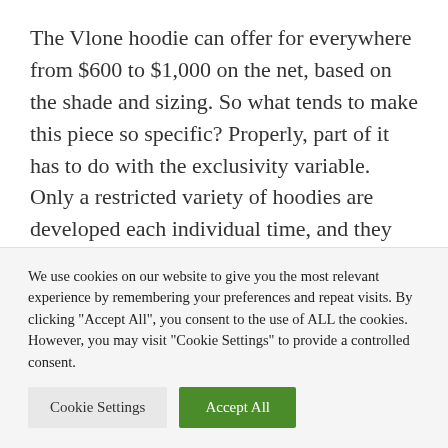The Vlone hoodie can offer for everywhere from $600 to $1,000 on the net, based on the shade and sizing. So what tends to make this piece so specific? Properly, part of it has to do with the exclusivity variable. Only a restricted variety of hoodies are developed each individual time, and they are inclined to sell out speedy. But even further than that, this is just an unbelievably
We use cookies on our website to give you the most relevant experience by remembering your preferences and repeat visits. By clicking "Accept All", you consent to the use of ALL the cookies. However, you may visit "Cookie Settings" to provide a controlled consent.